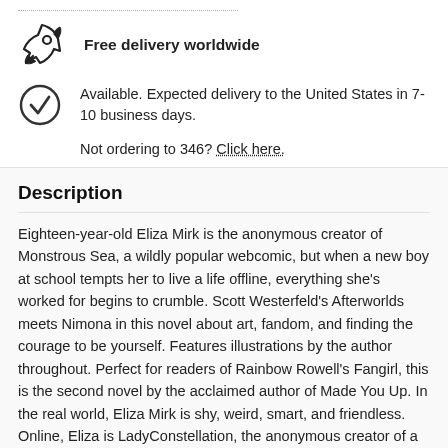[Figure (illustration): Rocket icon (launch/delivery icon)]
Free delivery worldwide
[Figure (illustration): Checkmark circle icon]
Available. Expected delivery to the United States in 7-10 business days.
Not ordering to 346? Click here.
Description
Eighteen-year-old Eliza Mirk is the anonymous creator of Monstrous Sea, a wildly popular webcomic, but when a new boy at school tempts her to live a life offline, everything she's worked for begins to crumble. Scott Westerfeld's Afterworlds meets Nimona in this novel about art, fandom, and finding the courage to be yourself. Features illustrations by the author throughout. Perfect for readers of Rainbow Rowell's Fangirl, this is the second novel by the acclaimed author of Made You Up. In the real world, Eliza Mirk is shy, weird, smart, and friendless. Online, Eliza is LadyConstellation, the anonymous creator of a popular webcomic called Monstrous Sea. With millions of followers and ... show more